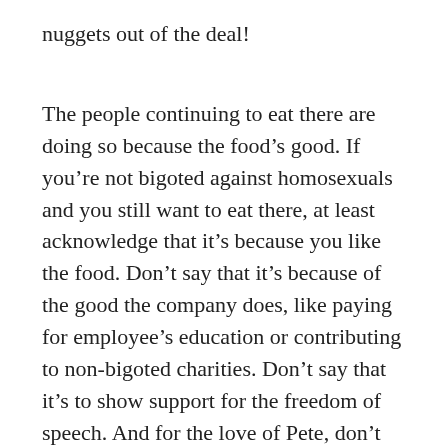nuggets out of the deal!
The people continuing to eat there are doing so because the food’s good. If you’re not bigoted against homosexuals and you still want to eat there, at least acknowledge that it’s because you like the food. Don’t say that it’s because of the good the company does, like paying for employee’s education or contributing to non-bigoted charities. Don’t say that it’s to show support for the freedom of speech. And for the love of Pete, don’t try any of that “bigotry offset” nonsense like making an equal donation to GLAAD or some other pro-LGBT group every time you buy something from CFA. You’re still funding groups that campaign